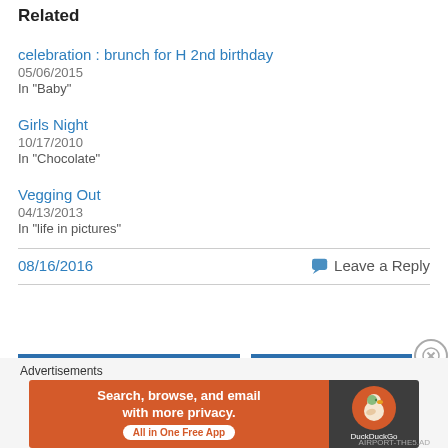Related
celebration : brunch for H 2nd birthday
05/06/2015
In "Baby"
Girls Night
10/17/2010
In "Chocolate"
Vegging Out
04/13/2013
In "life in pictures"
08/16/2016
Leave a Reply
Advertisements
[Figure (infographic): DuckDuckGo advertisement banner: 'Search, browse, and email with more privacy. All in One Free App' with DuckDuckGo duck logo on dark background]